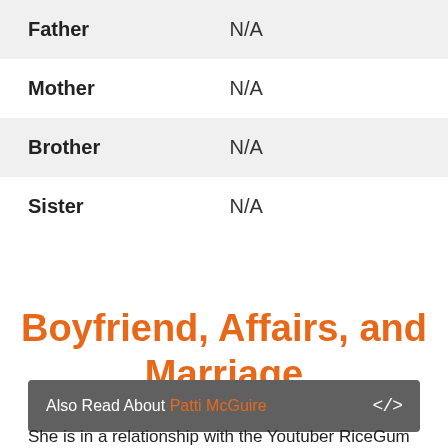| Relation | Value |
| --- | --- |
| Father | N/A |
| Mother | N/A |
| Brother | N/A |
| Sister | N/A |
Boyfriend, Affairs, and Marriage
Also Read About Patti McGuire
She is in a relationship with the Youtuber RiceGum